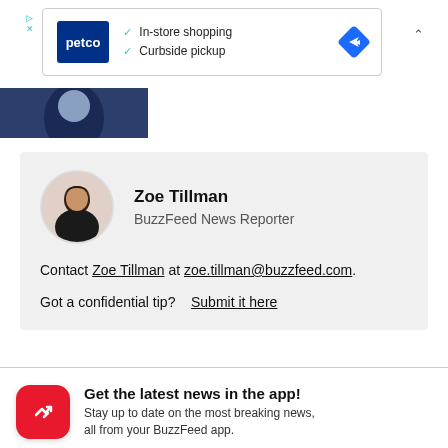[Figure (screenshot): Petco advertisement banner showing logo with 'In-store shopping' and 'Curbside pickup' checkmarks, navigation icon]
[Figure (photo): Partial photo of a person in dark clothing, cropped]
Zoe Tillman
BuzzFeed News Reporter
Contact Zoe Tillman at zoe.tillman@buzzfeed.com.
Got a confidential tip?  Submit it here
Get the latest news in the app! Stay up to date on the most breaking news, all from your BuzzFeed app.
Maybe later
Get the app